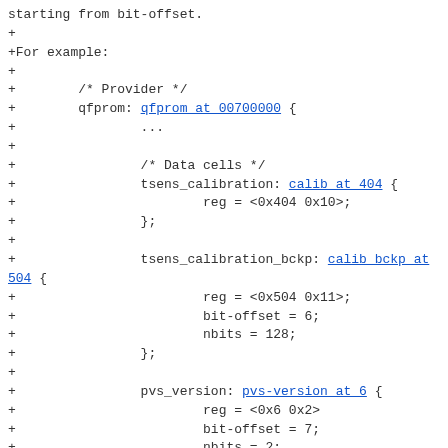starting from bit-offset.
+
+For example:
+
+        /* Provider */
+        qfprom: qfprom at 00700000 {
+                ...
+
+                /* Data cells */
+                tsens_calibration: calib at 404 {
+                        reg = <0x404 0x10>;
+                };
+
+                tsens_calibration_bckp: calib bckp at 504 {
+                        reg = <0x504 0x11>;
+                        bit-offset = 6;
+                        nbits = 128;
+                };
+
+                pvs_version: pvs-version at 6 {
+                        reg = <0x6 0x2>
+                        bit-offset = 7;
+                        nbits = 2;
+                };
+
+                speed_bin: speed-bin at c{
+                        reg = <0xc 0x1>;
+                        bit-offset = 2;
+                        nbits = 3;